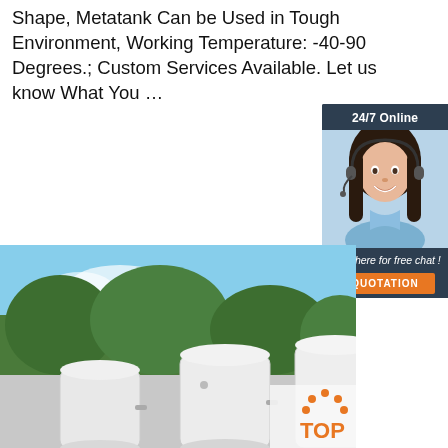Shape, Metatank Can be Used in Tough Environment, Working Temperature: -40-90 Degrees.; Custom Services Available. Let us know What You …
[Figure (other): Orange 'Get Price' button]
[Figure (other): 24/7 Online chat widget with smiling woman wearing headset, 'Click here for free chat!' text and orange QUOTATION button]
[Figure (photo): Three white vertical pressure tanks/vessels outdoors with trees and blue sky in background. Orange TOP logo visible on right side.]